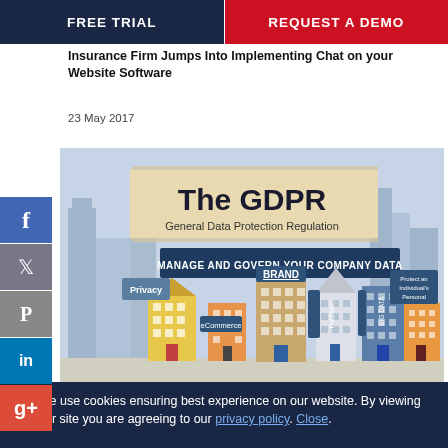FREE TRIAL | REQUEST A DEMO
Insurance Firm Jumps Into Implementing Chat on your Website Software
23 May 2017
[Figure (infographic): The GDPR (General Data Protection Regulation) infographic showing a cityscape with buildings labeled Privacy, eCommerce, BRAND, Publisher, BIG DATA, and a sign reading 'Protect an Individual's Personal Data'. A banner reads 'MANAGE AND GOVERN YOUR COMPANY DATA'.]
Securing Your Live Chat Integration to Comply with GDPR
22 February 2018
We use cookies ensuring best experience on our website. By viewing our site you are agreeing to our privacy policy. Close.